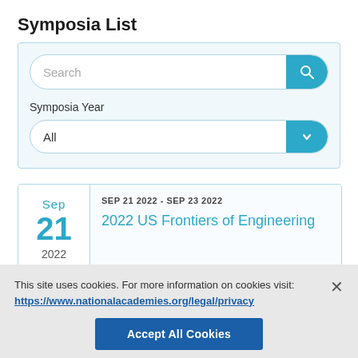Symposia List
[Figure (screenshot): Search bar with teal search button and Symposia Year dropdown filter]
[Figure (screenshot): Event listing card showing Sep 21 2022 date and event title '2022 US Frontiers of Engineering', date range SEP 21 2022 - SEP 23 2022]
This site uses cookies. For more information on cookies visit: https://www.nationalacademies.org/legal/privacy
Accept All Cookies